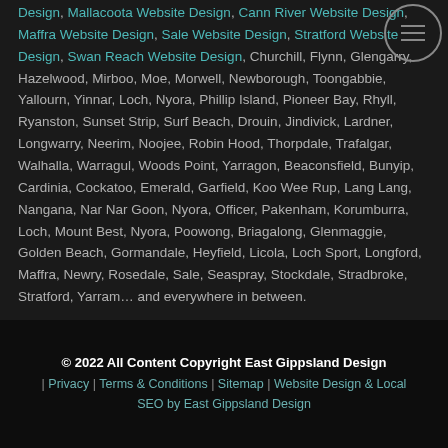Design, Mallacoota Website Design, Cann River Website Design, Maffra Website Design, Sale Website Design, Stratford Website Design, Swan Reach Website Design, Churchill, Flynn, Glengarry, Hazelwood, Mirboo, Moe, Morwell, Newborough, Toongabbie, Yallourn, Yinnar, Loch, Nyora, Phillip Island, Pioneer Bay, Rhyll, Ryanston, Sunset Strip, Surf Beach, Drouin, Jindivick, Lardner, Longwarry, Neerim, Noojee, Robin Hood, Thorpdale, Trafalgar, Walhalla, Warragul, Woods Point, Yarragon, Beaconsfield, Bunyip, Cardinia, Cockatoo, Emerald, Garfield, Koo Wee Rup, Lang Lang, Nangana, Nar Nar Goon, Nyora, Officer, Pakenham, Korumburra, Loch, Mount Best, Nyora, Poowong, Briagalong, Glenmaggie, Golden Beach, Gormandale, Heyfield, Licola, Loch Sport, Longford, Maffra, Newry, Rosedale, Sale, Seaspray, Stockdale, Stradbroke, Stratford, Yarram… and everywhere in between.
© 2022 All Content Copyright East Gippsland Design | Privacy | Terms & Conditions | Sitemap | Website Design & Local SEO by East Gippsland Design